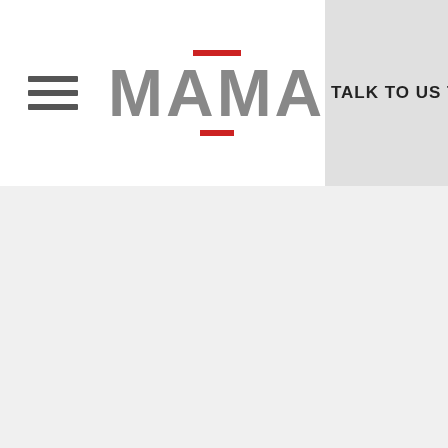[Figure (logo): MAMA logo with red horizontal bars above and below the text, and a hamburger menu icon to the left]
TALK TO US TODAY